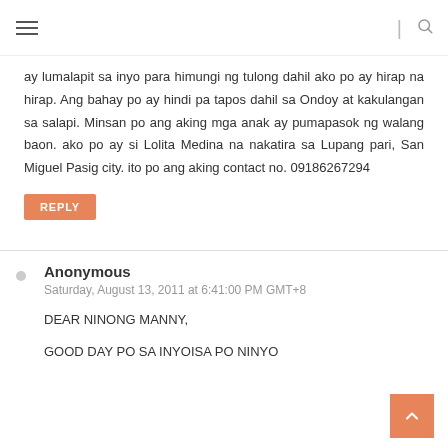≡ | 🔍
ay lumalapit sa inyo para himungi ng tulong dahil ako po ay hirap na hirap. Ang bahay po ay hindi pa tapos dahil sa Ondoy at kakulangan sa salapi. Minsan po ang aking mga anak ay pumapasok ng walang baon. ako po ay si Lolita Medina na nakatira sa Lupang pari, San Miguel Pasig city. ito po ang aking contact no. 09186267294
REPLY
Anonymous
Saturday, August 13, 2011 at 6:41:00 PM GMT+8
DEAR NINONG MANNY,
GOOD DAY PO SA INYOISA PO NINYO